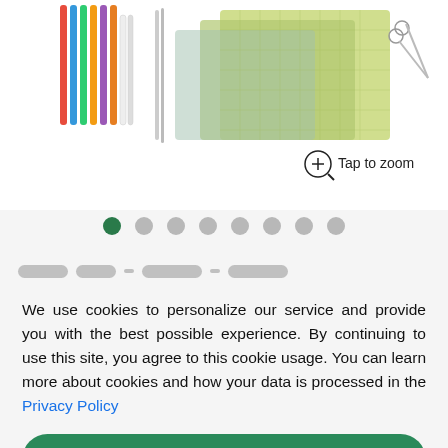[Figure (photo): Product photo showing craft supplies including colored markers, scissors, cutting mats in yellow-green and blue-gray, and other tools on a white background. 'Tap to zoom' label with zoom icon visible in bottom right.]
Tap to zoom
[Figure (infographic): Carousel navigation dots: 8 dots total, first dot is dark green (active), remaining 7 are gray.]
[Figure (infographic): Partially visible blurred product title text]
We use cookies to personalize our service and provide you with the best possible experience. By continuing to use this site, you agree to this cookie usage. You can learn more about cookies and how your data is processed in the Privacy Policy
Accept all
Accept without tracking